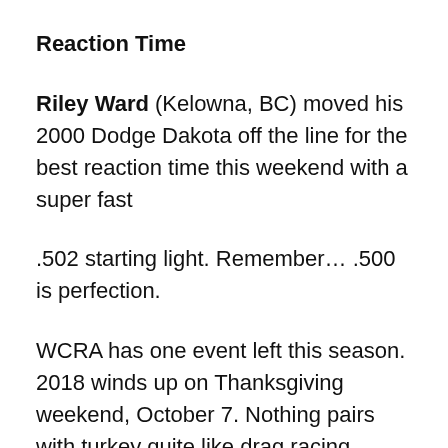Reaction Time
Riley Ward (Kelowna, BC) moved his 2000 Dodge Dakota off the line for the best reaction time this weekend with a super fast
.502 starting light. Remember… .500 is perfection.
WCRA has one event left this season. 2018 winds up on Thanksgiving weekend, October 7. Nothing pairs with turkey quite like drag racing.
Gates will open in two weeks at 9 a.m. $10 gate fee applies to all over 12 (kids must be accompanied by an adult.). Concessions are